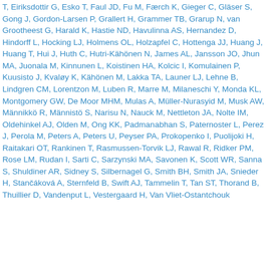T, Eiriksdottir G, Esko T, Faul JD, Fu M, Færch K, Gieger C, Gläser S, Gong J, Gordon-Larsen P, Grallert H, Grammer TB, Grarup N, van Grootheest G, Harald K, Hastie ND, Havulinna AS, Hernandez D, Hindorff L, Hocking LJ, Holmens OL, Holzapfel C, Hottenga JJ, Huang J, Huang T, Hui J, Huth C, Hutri-Kähönen N, James AL, Jansson JO, Jhun MA, Juonala M, Kinnunen L, Koistinen HA, Kolcic I, Komulainen P, Kuusisto J, Kvaløy K, Kähönen M, Lakka TA, Launer LJ, Lehne B, Lindgren CM, Lorentzon M, Luben R, Marre M, Milaneschi Y, Monda KL, Montgomery GW, De Moor MHM, Mulas A, Müller-Nurasyid M, Musk AW, Männikkö R, Männistö S, Narisu N, Nauck M, Nettleton JA, Nolte IM, Oldehinkel AJ, Olden M, Ong KK, Padmanabhan S, Paternoster L, Perez J, Perola M, Peters A, Peters U, Peyser PA, Prokopenko I, Puolijoki H, Raitakari OT, Rankinen T, Rasmussen-Torvik LJ, Rawal R, Ridker PM, Rose LM, Rudan I, Sarti C, Sarzynski MA, Savonen K, Scott WR, Sanna S, Shuldiner AR, Sidney S, Silbernagel G, Smith BH, Smith JA, Snieder H, Stančáková A, Sternfeld B, Swift AJ, Tammelin T, Tan ST, Thorand B, Thuillier D, Vandenput L, Vestergaard H, Van Vliet-Ostantchouk